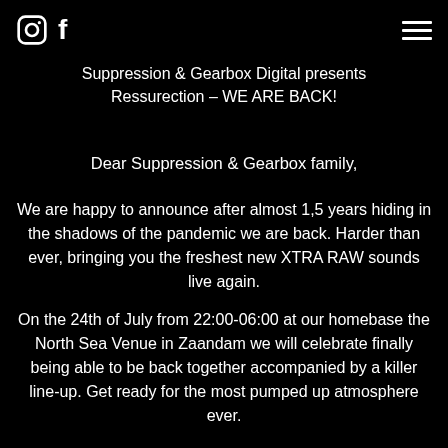[Instagram icon] [Facebook icon] [Menu icon]
Suppression & Gearbox Digital presents
Ressurection – WE ARE BACK!
Dear Suppression & Gearbox family,
We are happy to announce after almost 1,5 years hiding in the shadows of the pandemic we are back. Harder than ever, bringing you the freshest new XTRA RAW sounds live again.
On the 24th of July from 22:00-06:00 at our homebase the North Sea Venue in Zaandam we will celebrate finally being able to be back together accompanied by a killer line-up. Get ready for the most pumped up atmosphere ever.